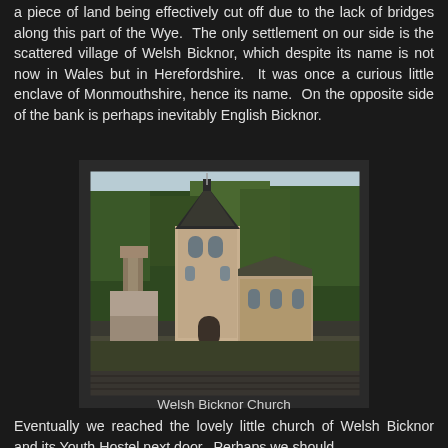a piece of land being effectively cut off due to the lack of bridges along this part of the Wye.  The only settlement on our side is the scattered village of Welsh Bicknor, which despite its name is not now in Wales but in Herefordshire.  It was once a curious little enclave of Monmouthshire, hence its name.  On the opposite side of the bank is perhaps inevitably English Bicknor.
[Figure (photo): A stone church with a square tower and pointed spire, surrounded by green trees and vegetation, with ruins or stone structures to its left, set in a rural Welsh landscape.]
Welsh Bicknor Church
Eventually we reached the lovely little church of Welsh Bicknor and its Youth Hostel next door.  Perhaps we should